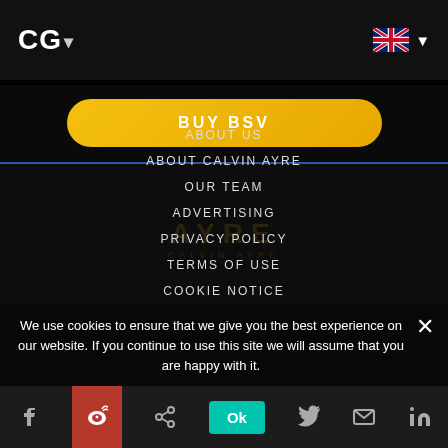CG ▾
[Figure (other): UK flag icon with dropdown caret]
BUY BSV
ABOUT US
ABOUT CALVIN AYRE
OUR TEAM
ADVERTISING
PRIVACY POLICY
TERMS OF USE
COOKIE NOTICE
CONTACT US
We use cookies to ensure that we give you the best experience on our website. If you continue to use this site we will assume that you are happy with it.
Ok
Social share bar: Facebook, Weibo, Share, Twitter, Email, LinkedIn